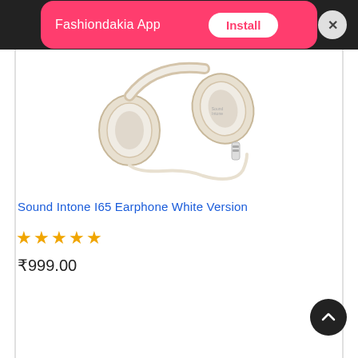Fashiondakia App  Install
[Figure (photo): White and gold over-ear headphones (Sound Intone I65) with a detachable cable featuring an inline microphone/remote, shown on a white background.]
Sound Intone I65 Earphone White Version
★★★★★
₹999.00